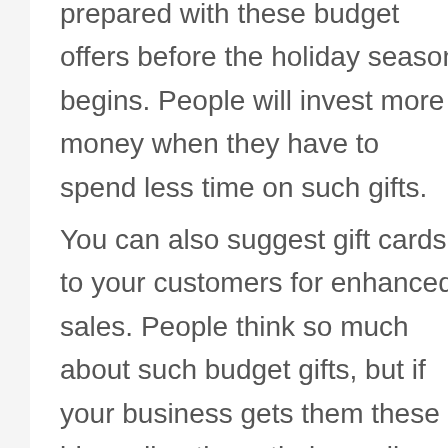prepared with these budget offers before the holiday season begins. People will invest more money when they have to spend less time on such gifts.
You can also suggest gift cards to your customers for enhanced sales. People think so much about such budget gifts, but if your business gets them these ideas directly on their email, you already own a brownie point. Certain